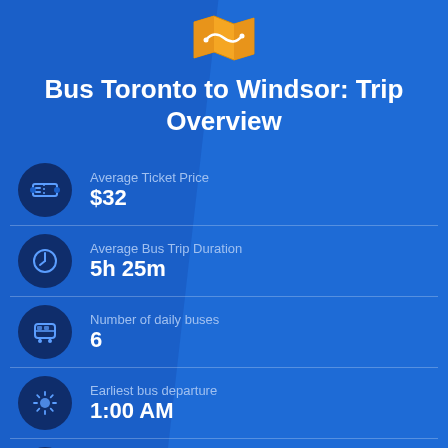[Figure (logo): Orange map/route icon at top center]
Bus Toronto to Windsor: Trip Overview
Average Ticket Price: $32
Average Bus Trip Duration: 5h 25m
Number of daily buses: 6
Earliest bus departure: 1:00 AM
Latest bus departure: 11:10 PM